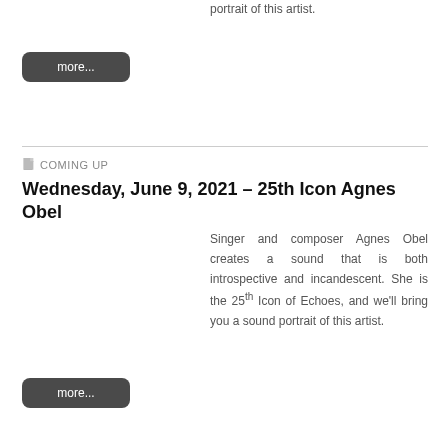portrait of this artist.
more...
COMING UP
Wednesday, June 9, 2021 – 25th Icon Agnes Obel
Singer and composer Agnes Obel creates a sound that is both introspective and incandescent. She is the 25th Icon of Echoes, and we'll bring you a sound portrait of this artist.
more...